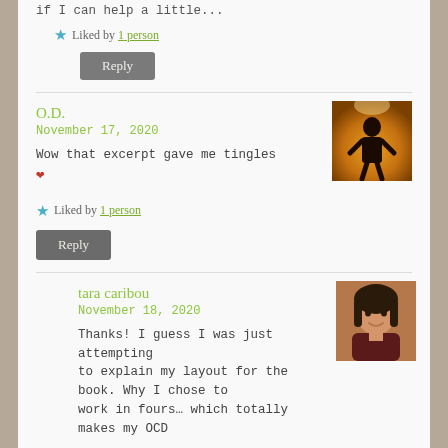if I can help a little...
Liked by 1 person
Reply
O.D.
November 17, 2020
[Figure (photo): Silhouette of a person standing against a warm orange/yellow background]
Wow that excerpt gave me tingles ❤
Liked by 1 person
Reply
tara caribou
November 18, 2020
[Figure (photo): Portrait photo of a woman with dark hair]
Thanks! I guess I was just attempting to explain my layout for the book. Why I chose to work in fours… which totally makes my OCD